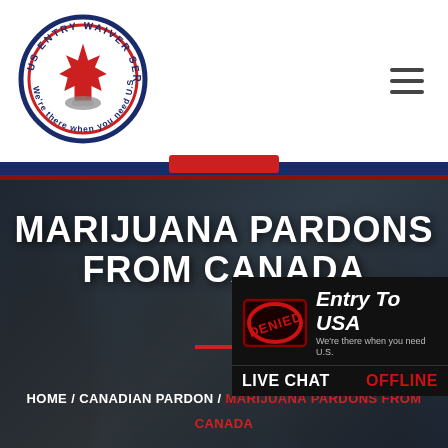[Figure (logo): US Entry Waiver Services circular logo with Canadian maple leaf and text 'We're there when you need U.S.']
MARIJUANA PARDONS FROM CANADA
[Figure (infographic): DENIED stamp overlay with Entry To USA text, We're there when you need U.S. subtitle, and LIVE CHAT / OFFLINE button widget on black background]
HOME / CANADIAN PARDON / MARIJUANA PARDONS FROM CANADA